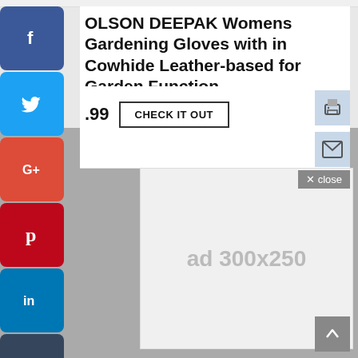OLSON DEEPAK Womens Gardening Gloves with in Cowhide Leather-based for Garden Function
.99
CHECK IT OUT
[Figure (screenshot): Social media sharing sidebar with buttons: Facebook (blue), Twitter (light blue), Google+ (red), Pinterest (dark red), LinkedIn (blue), Tumblr (dark blue), Blogger (orange), Reddit (orange-red)]
[Figure (screenshot): Print icon button (light blue/grey box)]
[Figure (screenshot): Email/envelope icon button (light blue/grey box)]
[Figure (screenshot): Advertisement placeholder showing 'ad 300x250' in gray text on light gray background]
✕ close
[Figure (screenshot): Scroll to top button (dark gray box with upward arrow)]